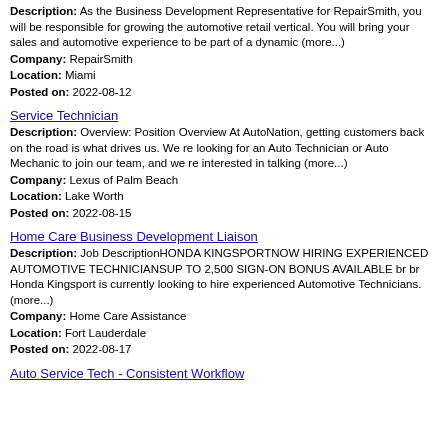Description: As the Business Development Representative for RepairSmith, you will be responsible for growing the automotive retail vertical. You will bring your sales and automotive experience to be part of a dynamic (more...)
Company: RepairSmith
Location: Miami
Posted on: 2022-08-12
Service Technician
Description: Overview: Position Overview At AutoNation, getting customers back on the road is what drives us. We re looking for an Auto Technician or Auto Mechanic to join our team, and we re interested in talking (more...)
Company: Lexus of Palm Beach
Location: Lake Worth
Posted on: 2022-08-15
Home Care Business Development Liaison
Description: Job DescriptionHONDA KINGSPORTNOW HIRING EXPERIENCED AUTOMOTIVE TECHNICIANSUP TO 2,500 SIGN-ON BONUS AVAILABLE br br Honda Kingsport is currently looking to hire experienced Automotive Technicians. (more...)
Company: Home Care Assistance
Location: Fort Lauderdale
Posted on: 2022-08-17
Auto Service Tech - Consistent Workflow